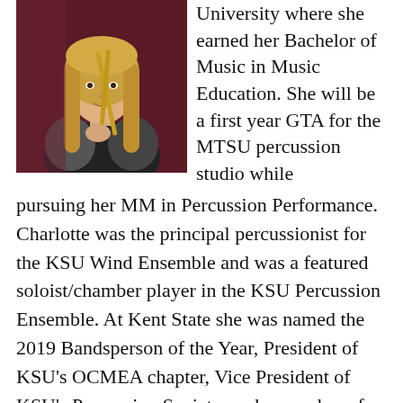[Figure (photo): Young woman with long blonde hair holding drumsticks, wearing dark clothing, in front of a dark red background.]
University where she earned her Bachelor of Music in Music Education. She will be a first year GTA for the MTSU percussion studio while pursuing her MM in Percussion Performance. Charlotte was the principal percussionist for the KSU Wind Ensemble and was a featured soloist/chamber player in the KSU Percussion Ensemble. At Kent State she was named the 2019 Bandsperson of the Year, President of KSU's OCMEA chapter, Vice President of KSU's Percussion Society, and a member of Delta Omicron. In 2019, Charlotte was selected to perform in the PASIC All-Star Collegiate Percussion Ensemble where she worked personally with Anders Astrand, James Campbell, Fransisco Perez, and other world-renowned percussionists. Amidst her studies